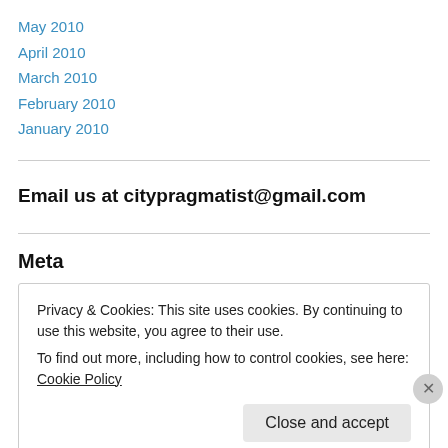May 2010
April 2010
March 2010
February 2010
January 2010
Email us at citypragmatist@gmail.com
Meta
Privacy & Cookies: This site uses cookies. By continuing to use this website, you agree to their use.
To find out more, including how to control cookies, see here: Cookie Policy
Close and accept